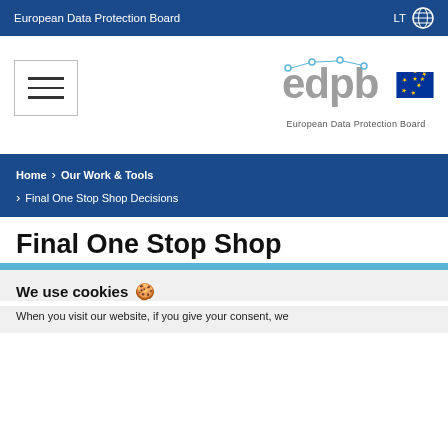European Data Protection Board  LT
[Figure (logo): Hamburger menu icon (three horizontal lines in a bordered box)]
[Figure (logo): EDPB logo with EU flag and text 'European Data Protection Board']
Home > Our Work & Tools > Final One Stop Shop Decisions
Final One Stop Shop
We use cookies
When you visit our website, if you give your consent, we